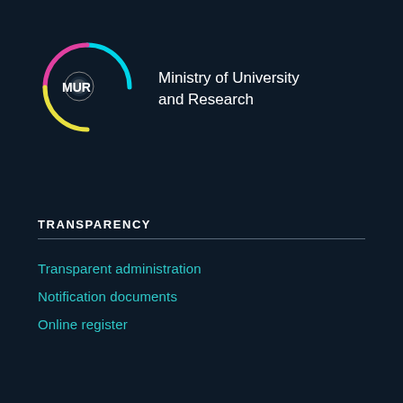[Figure (logo): MUR Ministry of University and Research logo — circular arc in cyan/magenta/yellow with Italian Republic emblem and MUR text, alongside ministry name]
Ministry of University and Research
TRANSPARENCY
Transparent administration
Notification documents
Online register